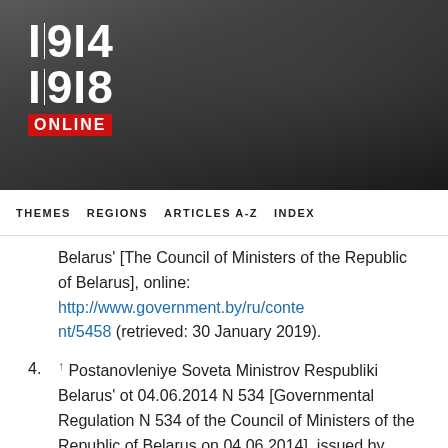1914 1918 ONLINE
THEMES   REGIONS   ARTICLES A-Z   INDEX
Belarus' [The Council of Ministers of the Republic of Belarus], online: http://www.government.by/ru/content/5458 (retrieved: 30 January 2019).
4. ↑ Postanovleniye Soveta Ministrov Respubliki Belarus' ot 04.06.2014 N 534 [Governmental Regulation N 534 of the Council of Ministers of the Republic of Belarus on 04.06.2014], issued by Naviny. Informatsionnyy portal Respubliki Belarus' [Naviny. Information